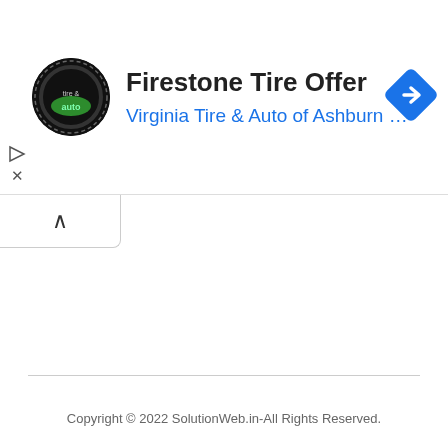[Figure (screenshot): Advertisement banner for Firestone Tire Offer from Virginia Tire & Auto of Ashburn, with circular black logo on left, title text, blue subtitle link, and blue diamond navigation arrow on right]
[Figure (other): Collapse/minimize tab button with upward chevron (^) below the ad banner]
Copyright © 2022 SolutionWeb.in-All Rights Reserved.